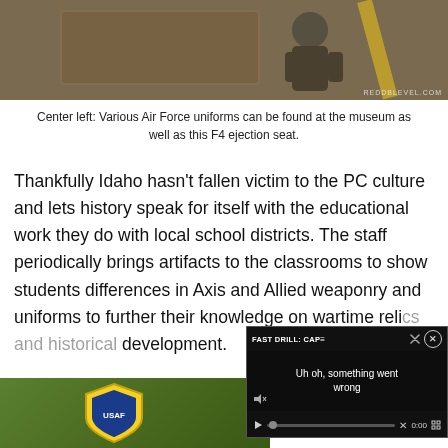[Figure (photo): Photo of Air Force uniforms and F4 ejection seat at a museum display]
Center left: Various Air Force uniforms can be found at the museum as well as this F4 ejection seat.
Thankfully Idaho hasn't fallen victim to the PC culture and lets history speak for itself with the educational work they do with local school districts. The staff periodically brings artifacts to the classrooms to show students differences in Axis and Allied weaponry and uniforms to further their knowledge on wartime reli... development.
[Figure (photo): Partial photo of a shield/crest logo on green background at bottom of page]
[Figure (screenshot): Video player overlay showing error message 'Uh oh, something went wrong' with title 'FAST DRILL: CAP=' and playback controls showing 0:00]